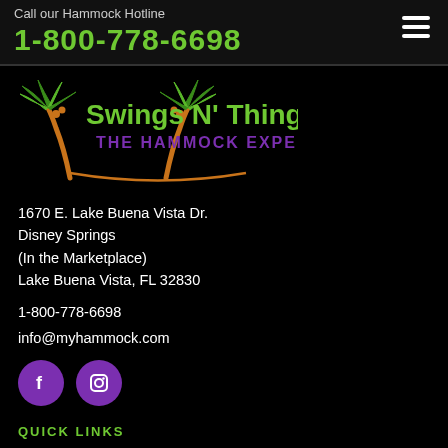Call our Hammock Hotline
1-800-778-6698
[Figure (logo): Swings N' Things The Hammock Experts logo with two palm trees]
1670 E. Lake Buena Vista Dr.
Disney Springs
(In the Marketplace)
Lake Buena Vista, FL 32830
1-800-778-6698
info@myhammock.com
[Figure (other): Facebook and Instagram social media icons (purple circles)]
QUICK LINKS
Home
My Account
Guarantee